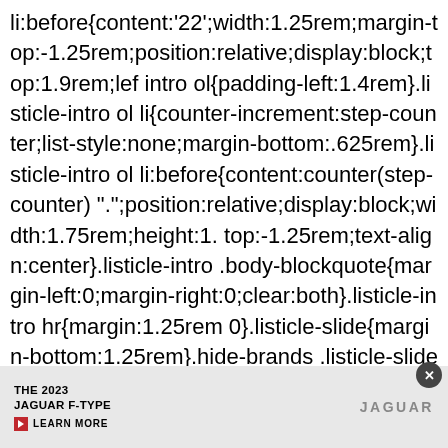li:before{content:'22';width:1.25rem;margin-top:-1.25rem;position:relative;display:block;top:1.9rem;lef intro ol{padding-left:1.4rem}.listicle-intro ol li{counter-increment:step-counter;list-style:none;margin-bottom:.625rem}.listicle-intro ol li:before{content:counter(step-counter) ".";position:relative;display:block;width:1.75rem;height:1. top:-1.25rem;text-align:center}.listicle-intro .body-blockquote{margin-left:0;margin-right:0;clear:both}.listicle-intro hr{margin:1.25rem 0}.listicle-slide{margin-bottom:1.25rem}.hide-brands .listicle-slide .listicle-product-review-brand,.hide-brands .listicle-slide .product-slide-brand{display:none}.hide-
[Figure (other): Advertisement banner for The 2023 Jaguar F-Type with a learn more link and Jaguar logo]